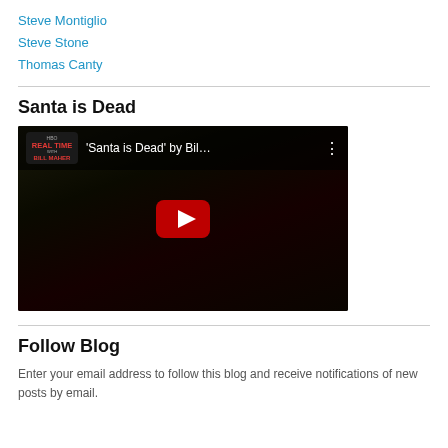Steve Montiglio
Steve Stone
Thomas Canty
Santa is Dead
[Figure (screenshot): YouTube video thumbnail for ''Santa is Dead' by Bil...' from Real Time with Bill Maher HBO channel, showing a dark scene with a large red play button in the center.]
Follow Blog
Enter your email address to follow this blog and receive notifications of new posts by email.